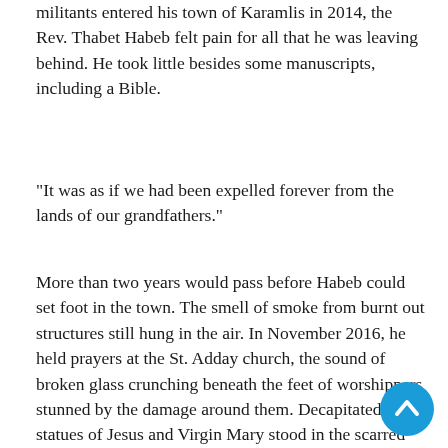militants entered his town of Karamlis in 2014, the Rev. Thabet Habeb felt pain for all that he was leaving behind. He took little besides some manuscripts, including a Bible.
"It was as if we had been expelled forever from the lands of our grandfathers."
More than two years would pass before Habeb could set foot in the town. The smell of smoke from burnt out structures still hung in the air. In November 2016, he held prayers at the St. Adday church, the sound of broken glass crunching beneath the feet of worshippers stunned by the damage around them. Decapitated statues of Jesus and Virgin Mary stood in the scarred church that day; one woman wept bitterly.